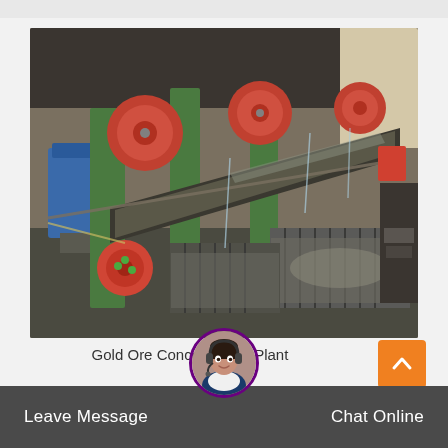[Figure (photo): Industrial gold ore concentration plant machinery with green and red metal equipment, conveyor belts, pulleys, and water-wet ore processing trays inside a factory shed.]
Gold Ore Concentration Plant
Leave Message
Chat Online